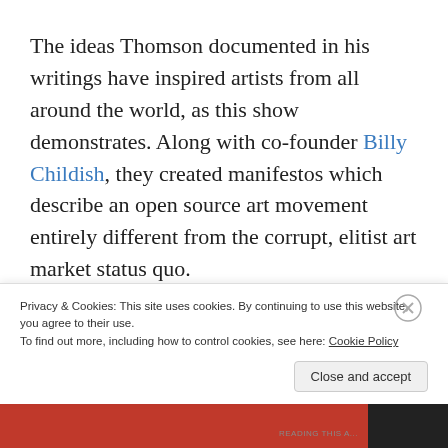The ideas Thomson documented in his writings have inspired artists from all around the world, as this show demonstrates. Along with co-founder Billy Childish, they created manifestos which describe an open source art movement entirely different from the corrupt, elitist art market status quo.
Privacy & Cookies: This site uses cookies. By continuing to use this website, you agree to their use.
To find out more, including how to control cookies, see here: Cookie Policy